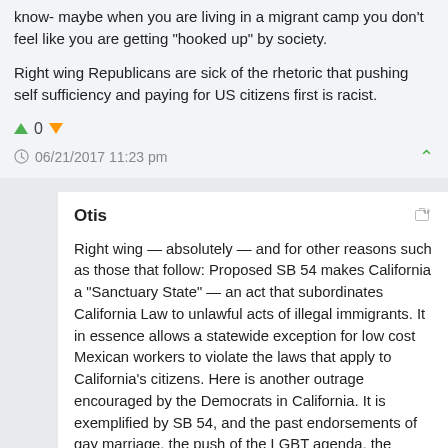know- maybe when you are living in a migrant camp you don't feel like you are getting “hooked up” by society.
Right wing Republicans are sick of the rhetoric that pushing self sufficiency and paying for US citizens first is racist.
0
06/21/2017 11:23 pm
Otis
Right wing — absolutely — and for other reasons such as those that follow: Proposed SB 54 makes California a “Sanctuary State” — an act that subordinates California Law to unlawful acts of illegal immigrants. It in essence allows a statewide exception for low cost Mexican workers to violate the laws that apply to California’s citizens. Here is another outrage encouraged by the Democrats in California. It is exemplified by SB 54, and the past endorsements of gay marriage, the push of the LGBT agenda, the subordination of Christian religions to secular liberalism and the specious claims of